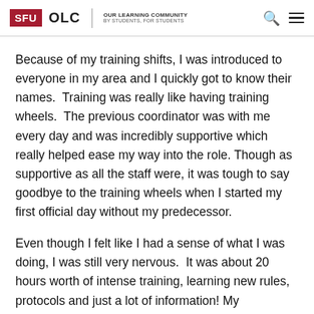SFU OLC | OUR LEARNING COMMUNITY BY STUDENTS, FOR STUDENTS
Because of my training shifts, I was introduced to everyone in my area and I quickly got to know their names.  Training was really like having training wheels.  The previous coordinator was with me every day and was incredibly supportive which really helped ease my way into the role. Though as supportive as all the staff were, it was tough to say goodbye to the training wheels when I started my first official day without my predecessor.
Even though I felt like I had a sense of what I was doing, I was still very nervous.  It was about 20 hours worth of intense training, learning new rules, protocols and just a lot of information! My